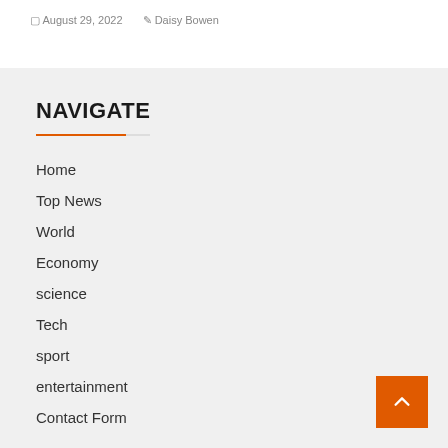August 29, 2022   Daisy Bowen
NAVIGATE
Home
Top News
World
Economy
science
Tech
sport
entertainment
Contact Form